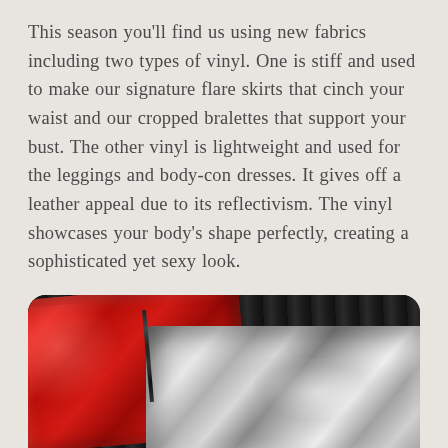This season you'll find us using new fabrics including two types of vinyl. One is stiff and used to make our signature flare skirts that cinch your waist and our cropped bralettes that support your bust. The other vinyl is lightweight and used for the leggings and body-con dresses. It gives off a leather appeal due to its reflectivism. The vinyl showcases your body's shape perfectly, creating a sophisticated yet sexy look.
[Figure (photo): Photo of two pieces of shiny vinyl clothing laid on a dark wood floor: a red vinyl garment with a black zipper on the left and a silver/metallic vinyl garment on the right.]